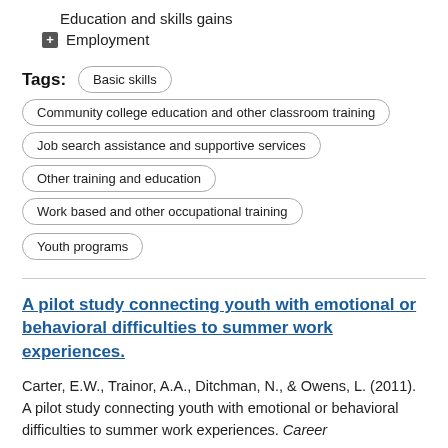Education and skills gains
+ Employment
Tags: Basic skills | Community college education and other classroom training | Job search assistance and supportive services | Other training and education | Work based and other occupational training | Youth programs
A pilot study connecting youth with emotional or behavioral difficulties to summer work experiences.
Carter, E.W., Trainor, A.A., Ditchman, N., & Owens, L. (2011). A pilot study connecting youth with emotional or behavioral difficulties to summer work experiences. Career